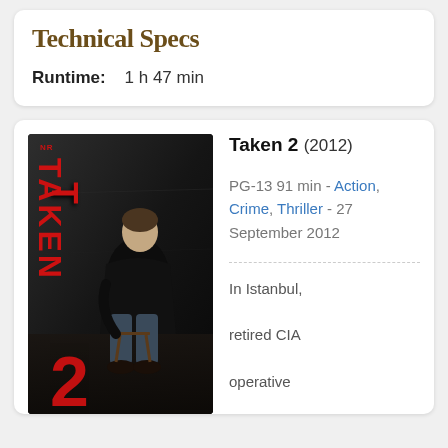Technical Specs
Runtime:    1 h 47 min
[Figure (photo): Movie poster for Taken 2 (2012) showing a man in a dark leather jacket sitting on a stool against a grey wall, with TAKEN in large red vertical letters and a red 2 at the bottom]
Taken 2 (2012)
PG-13 91 min - Action, Crime, Thriller - 27 September 2012
In Istanbul, retired CIA operative